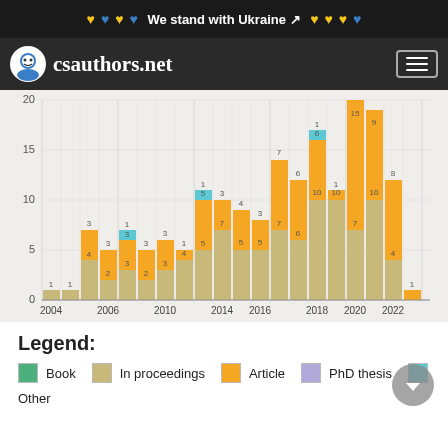We stand with Ukraine
[Figure (screenshot): csauthors.net logo and navigation bar]
[Figure (stacked-bar-chart): Publications per year]
Legend:
Book  In proceedings  Article  PhD thesis  Other